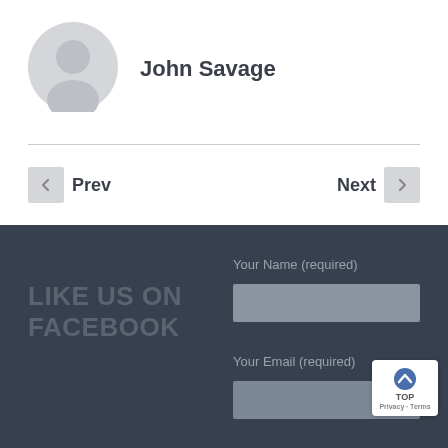[Figure (illustration): Gray circular user avatar placeholder icon]
John Savage
Prev
Next
LIKE US ON FACEBOOK
Your Name (required)
Your Email (required)